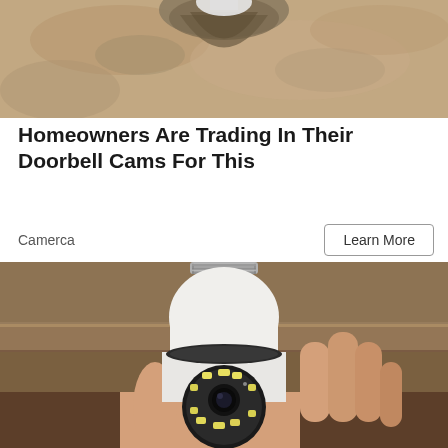[Figure (photo): Top portion of a light bulb socket area with a mushroom or organic material visible, beige/tan background texture]
Homeowners Are Trading In Their Doorbell Cams For This
Camerca
Learn More
[Figure (photo): A hand holding a white light bulb security camera with a black camera lens ring with LED lights on the front, screw base at top, positioned against a wooden shelf background]